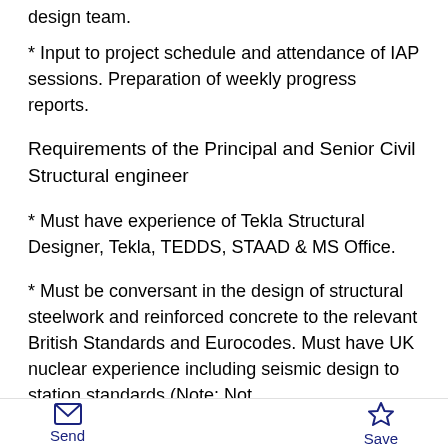design team.
* Input to project schedule and attendance of IAP sessions. Preparation of weekly progress reports.
Requirements of the Principal and Senior Civil Structural engineer
* Must have experience of Tekla Structural Designer, Tekla, TEDDS, STAAD & MS Office.
* Must be conversant in the design of structural steelwork and reinforced concrete to the relevant British Standards and Eurocodes. Must have UK nuclear experience including seismic design to station standards (Note: Not
Send   Save